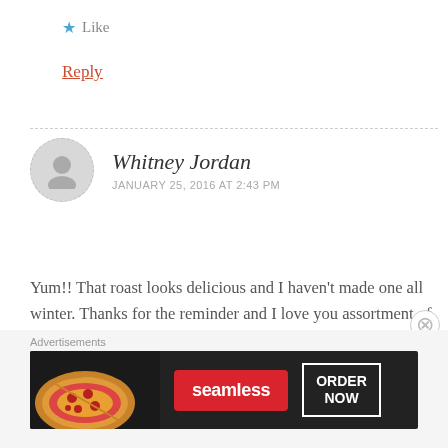★ Like
Reply
Whitney Jordan
JANUARY 25, 2016 AT 2:43 PM
Yum!! That roast looks delicious and I haven't made one all winter. Thanks for the reminder and I love you assortment of blue dishes. My family enjoyed those Texas Toast pizzas, too. Thanks for sharing 🙂
[Figure (other): Seamless food delivery advertisement banner with pizza image, Seamless logo, and ORDER NOW button]